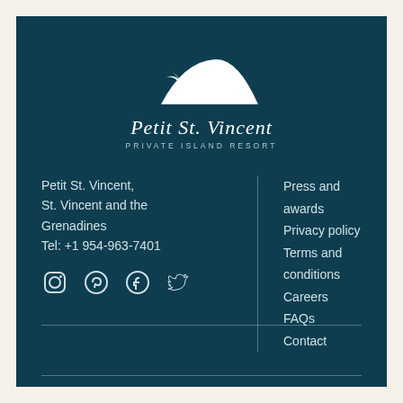[Figure (logo): Petit St. Vincent Private Island Resort logo — white silhouette of island with palm tree and sailboat, with stylized italic text 'Petit St. Vincent' and subtitle 'PRIVATE ISLAND RESORT']
Petit St. Vincent,
St. Vincent and the Grenadines
Tel: +1 954-963-7401
[Figure (illustration): Social media icons: Instagram, Pinterest, Facebook, Twitter]
Press and awards
Privacy policy
Terms and conditions
Careers
FAQs
Contact